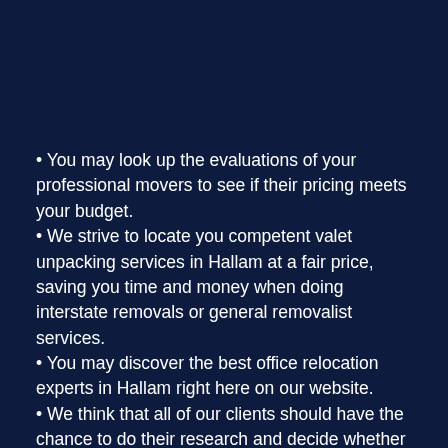You may look up the evaluations of your professional movers to see if their pricing meets your budget.
We strive to locate you competent valet unpacking services in Hallam at a fair price, saving you time and money when doing interstate removals or general removalist services.
You may discover the best office relocation experts in Hallam right here on our website.
We think that all of our clients should have the chance to do their research and decide whether or not they want a furniture removal company to aid with their relocation before phoning one.
Our business directory also gives comprehensive information about the variety of professional removalists with exceptional customer service and removals insurance in your area and surrounding suburbs, including relevant information such as an